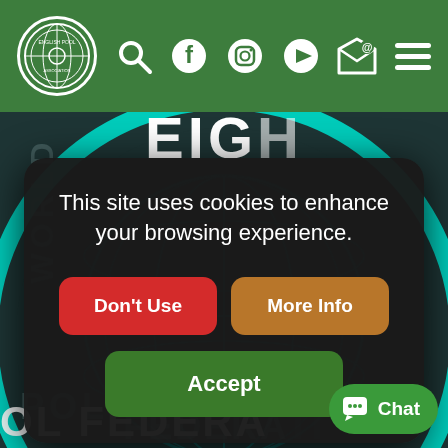[Figure (screenshot): Green website header bar with English Pool Association logo and navigation icons: search, Facebook, Instagram, YouTube, email, hamburger menu]
[Figure (logo): World Eight Ball Pool Federation circular logo with teal/cyan ring, globe graphic, and partial text visible behind cookie dialog]
This site uses cookies to enhance your browsing experience.
Don't Use
More Info
Accept
Chat